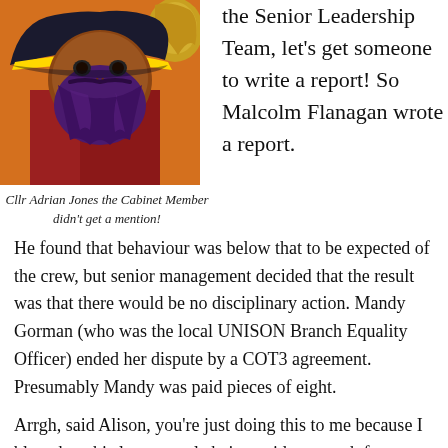[Figure (illustration): Colorful painting/illustration of a pirate figure with a black hat and beard against an orange background, with a partial figure of another person to the right.]
Cllr Adrian Jones the Cabinet Member didn't get a mention!
the Senior Leadership Team, let's get someone to write a report! So Malcolm Flanagan wrote a report. He found that behaviour was below that to be expected of the crew, but senior management decided that the result was that there would be no disciplinary action. Mandy Gorman (who was the local UNISON Branch Equality Officer) ended her dispute by a COT3 agreement. Presumably Mandy was paid pieces of eight.
Arrgh, said Alison, you're just doing this to me because I blew the whistle on people being paid too much for extra